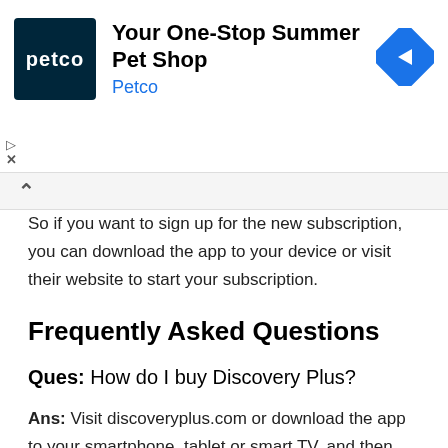[Figure (other): Petco advertisement banner with Petco logo, text 'Your One-Stop Summer Pet Shop' and 'Petco', and a navigation/directions diamond icon]
So if you want to sign up for the new subscription, you can download the app to your device or visit their website to start your subscription.
Frequently Asked Questions
Ques: How do I buy Discovery Plus?
Ans: Visit discoveryplus.com or download the app to your smartphone, tablet or smart TV, and then pick a subscription plan: $4.99 per month for an ad-supported version or $6.99 per month for commercial-free viewing.